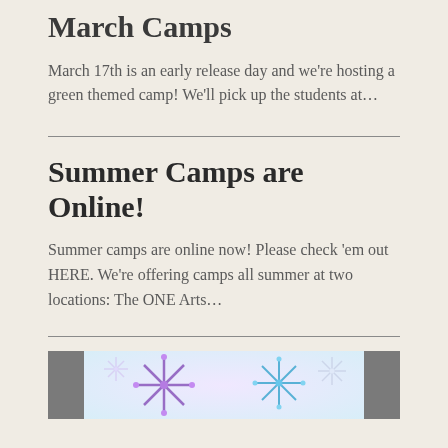March Camps
March 17th is an early release day and we're hosting a green themed camp! We'll pick up the students at…
Summer Camps are Online!
Summer camps are online now! Please check 'em out HERE. We're offering camps all summer at two locations: The ONE Arts…
[Figure (photo): Colorful decorative snowflake illustration with purple, blue, and white tones on a light background, flanked by dark gray bars on left and right.]